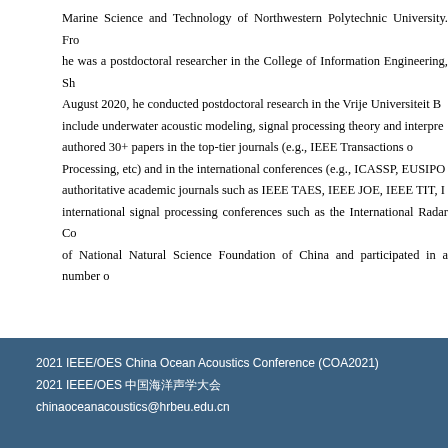Marine Science and Technology of Northwestern Polytechnic University. From he was a postdoctoral researcher in the College of Information Engineering, Sh August 2020, he conducted postdoctoral research in the Vrije Universiteit B include underwater acoustic modeling, signal processing theory and interpre authored 30+ papers in the top-tier journals (e.g., IEEE Transactions on Processing, etc) and in the international conferences (e.g., ICASSP, EUSIPO authoritative academic journals such as IEEE TAES, IEEE JOE, IEEE TIT, I international signal processing conferences such as the International Radar Co of National Natural Science Foundation of China and participated in a number o
2021 IEEE/OES China Ocean Acoustics Conference (COA2021)
2021 IEEE/OES 中国海洋声学大会
chinaoceanacoustics@hrbeu.edu.cn